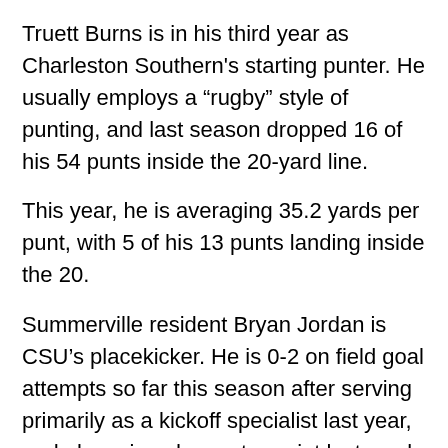Truett Burns is in his third year as Charleston Southern's starting punter. He usually employs a “rugby” style of punting, and last season dropped 16 of his 54 punts inside the 20-yard line.
This year, he is averaging 35.2 yards per punt, with 5 of his 13 punts landing inside the 20.
Summerville resident Bryan Jordan is CSU’s placekicker. He is 0-2 on field goal attempts so far this season after serving primarily as a kickoff specialist last year, and also missed an extra point last week. His backup, David Kennedy, was 11-18 last season attempting field goals (including two successful kicks against The Citadel).
Jamey Chadwell expressed some concern about that aspect of the Bucs’ kicking game during the Big South